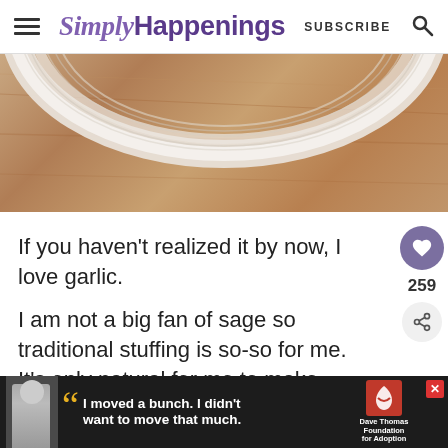SimplyHappenings SUBSCRIBE
[Figure (photo): Close-up of a white ribbed plate on a wooden surface, showing the curved rim of the plate against a wood-grain background.]
If you haven't realized it by now, I love garlic.
I am not a big fan of sage so traditional stuffing is so-so for me. It's only natural for me to make stuffing with garlic bread,
[Figure (other): Advertisement banner: boy with quote 'I moved a bunch. I didn't want to move that much.' with Dave Thomas Foundation for Adoption logo.]